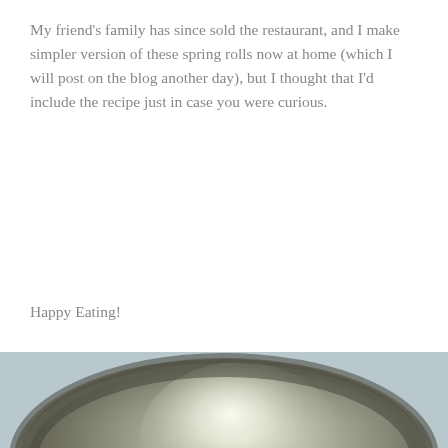My friend's family has since sold the restaurant, and I make simpler version of these spring rolls now at home (which I will post on the blog another day), but I thought that I'd include the recipe just in case you were curious.
Happy Eating!
[Figure (photo): Close-up photograph of a stainless steel pan or bowl viewed from above, showing the brushed metallic interior with a bright central highlight and rounded rim, set against a light blue-grey surface.]
HOW TO MAKE A STAINLESS STEEL